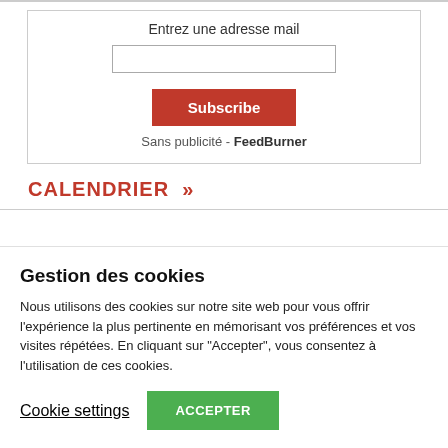Entrez une adresse mail
Subscribe
Sans publicité - FeedBurner
CALENDRIER »
Gestion des cookies
Nous utilisons des cookies sur notre site web pour vous offrir l'expérience la plus pertinente en mémorisant vos préférences et vos visites répétées. En cliquant sur "Accepter", vous consentez à l'utilisation de ces cookies.
Cookie settings
ACCEPTER